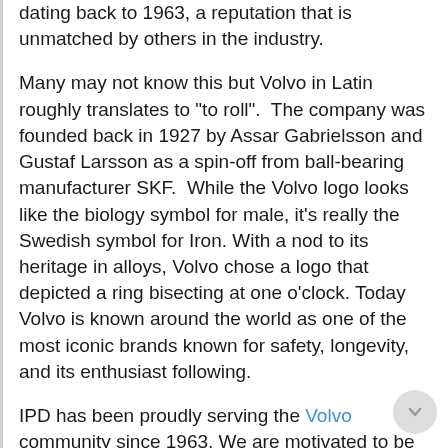dating back to 1963, a reputation that is unmatched by others in the industry.
Many may not know this but Volvo in Latin roughly translates to "to roll".  The company was founded back in 1927 by Assar Gabrielsson and Gustaf Larsson as a spin-off from ball-bearing manufacturer SKF.  While the Volvo logo looks like the biology symbol for male, it's really the Swedish symbol for Iron. With a nod to its heritage in alloys, Volvo chose a logo that depicted a ring bisecting at one o'clock. Today Volvo is known around the world as one of the most iconic brands known for safety, longevity, and its enthusiast following.
IPD has been proudly serving the Volvo community since 1963. We are motivated to be the very best destination for your Volvo needs. Our customer and vehicle first approach means that your experience is our first priority. We have a rock-hard focus on your success.